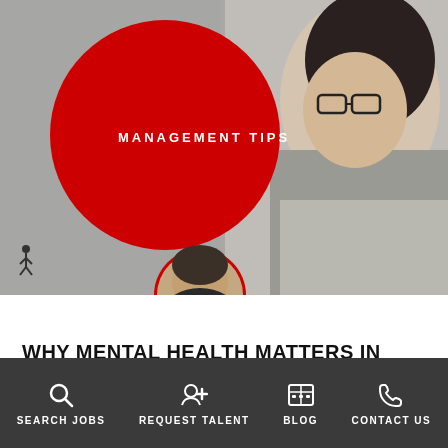[Figure (photo): Hero image of a woman wearing glasses looking sideways, with a large red circle overlay containing the text MANAGEMENT TIPS, and a small author avatar circle at the bottom left]
WHY MENTAL HEALTH MATTERS IN THE WORKPLACE
You want your workers to remain productive and efficient. Yet, you need your employees to take care of their mental health. Mental wellness matters as…
SEARCH JOBS | REQUEST TALENT | BLOG | CONTACT US